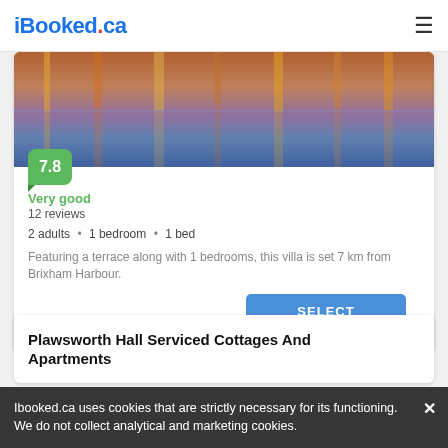iBooked.ca
[Figure (photo): Night harbour photo with light reflections on water in orange, pink and blue tones]
7.8
Very good
12 reviews
2 adults • 1 bedroom • 1 bed
Featuring a terrace along with 1 bedrooms, this villa is set 7 km from Brixham Harbour.
SELECT
Plawsworth Hall Serviced Cottages And Apartments
Ibooked.ca uses cookies that are strictly necessary for its functioning. We do not collect analytical and marketing cookies.